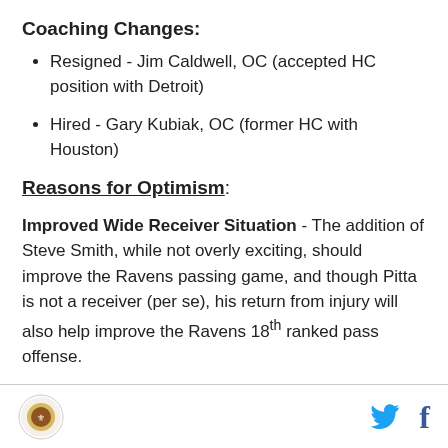Coaching Changes:
Resigned - Jim Caldwell, OC (accepted HC position with Detroit)
Hired - Gary Kubiak, OC (former HC with Houston)
Reasons for Optimism:
Improved Wide Receiver Situation - The addition of Steve Smith, while not overly exciting, should improve the Ravens passing game, and though Pitta is not a receiver (per se), his return from injury will also help improve the Ravens 18th ranked pass offense.
Defense - Though the Ravens have lost a lot on